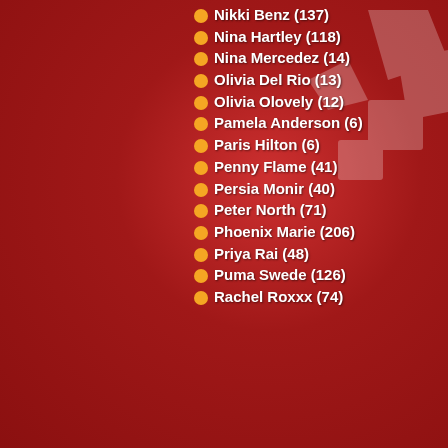Nikki Benz (137)
Nina Hartley (118)
Nina Mercedez (14)
Olivia Del Rio (13)
Olivia Olovely (12)
Pamela Anderson (6)
Paris Hilton (6)
Penny Flame (41)
Persia Monir (40)
Peter North (71)
Phoenix Marie (206)
Priya Rai (48)
Puma Swede (126)
Rachel Roxxx (74)
Rachel Starr (70)
Rachel Steele (1)
Raven Riley (3)
Rebeca Linares (28)
Ricki White (23)
Rita Faltoyano (49)
Rocco Siffredi (138)